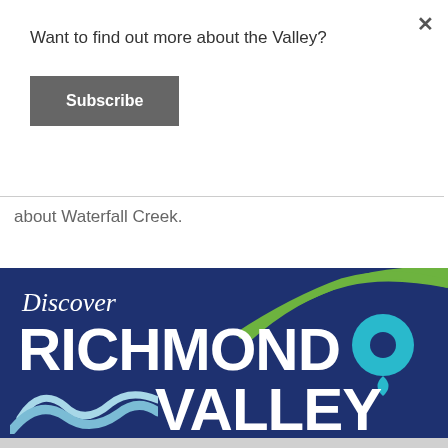Want to find out more about the Valley?
Subscribe
about Waterfall Creek.
[Figure (logo): Discover Richmond Valley logo on dark navy blue background with green hill swoosh, blue water wave, and teal location pin marker. Text reads: Discover RICHMOND VALLEY]